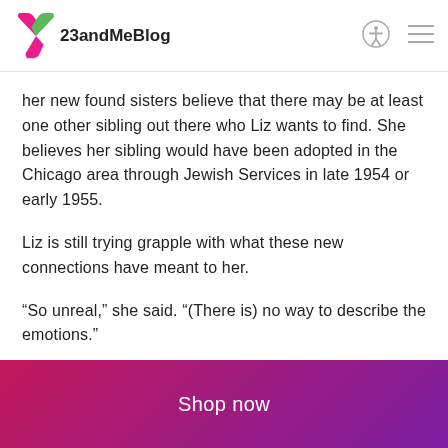23andMeBlog
her new found sisters believe that there may be at least one other sibling out there who Liz wants to find. She believes her sibling would have been adopted in the Chicago area through Jewish Services in late 1954 or early 1955.
Liz is still trying grapple with what these new connections have meant to her.
“So unreal,” she said. “(There is) no way to describe the emotions.”
Tags: Adoption, DNA Relatives
Shop now